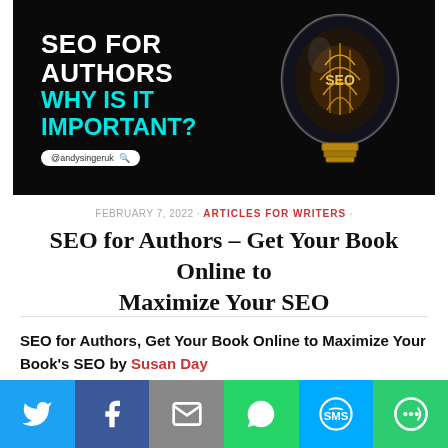[Figure (illustration): Dark background promotional image showing 'SEO FOR AUTHORS WHY IS IT IMPORTANT?' text in white and cyan, with a glowing lightbulb containing the word SEO, and @andysingeruk handle at the bottom]
FEBRUARY 7, 2022 · ARTICLES FOR WRITERS ·
SEO for Authors – Get Your Book Online to Maximize Your SEO
SEO for Authors, Get Your Book Online to Maximize Your Book's SEO by Susan Day